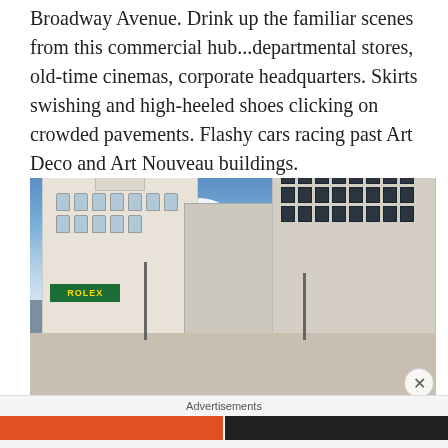Broadway Avenue. Drink up the familiar scenes from this commercial hub...departmental stores, old-time cinemas, corporate headquarters. Skirts swishing and high-heeled shoes clicking on crowded pavements. Flashy cars racing past Art Deco and Art Nouveau buildings.
[Figure (photo): Street-level view of Gran Vía / Broadway Avenue showing ornate early 20th-century buildings including a white domed building with a Rolex sign on the left, classical European architecture on the right, street lamps, and a blue sky with white clouds.]
Advertisements